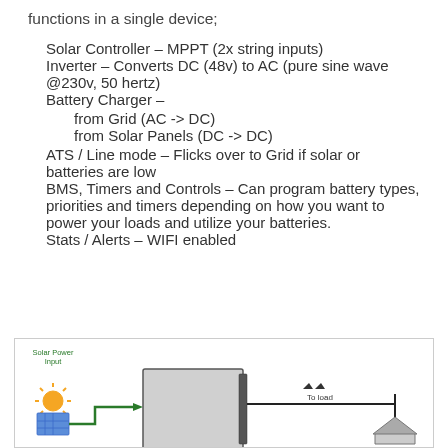functions in a single device;
Solar Controller – MPPT (2x string inputs)
Inverter – Converts DC (48v) to AC (pure sine wave @230v, 50 hertz)
Battery Charger –
from Grid (AC -> DC)
from Solar Panels (DC -> DC)
ATS / Line mode – Flicks over to Grid if solar or batteries are low
BMS, Timers and Controls – Can program battery types, priorities and timers depending on how you want to power your loads and utilize your batteries.
Stats / Alerts – WIFI enabled
[Figure (schematic): Diagram showing solar power input with solar panel and sun icon connecting via green wire to an inverter/charger unit, with output labeled 'To load' and arrows pointing right to a house/load icon.]